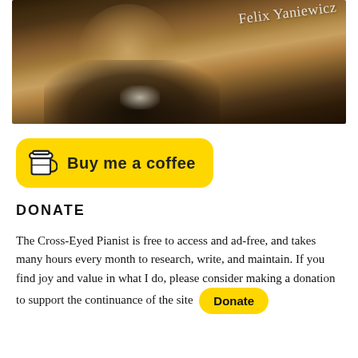[Figure (photo): Portrait painting of a historical figure (Felix Yaniewicz) in dark formal attire with white cravat, with a cursive signature reading 'Felix Yaniewicz' in the upper right corner of the image.]
[Figure (other): Yellow 'Buy me a coffee' button with a coffee cup icon and italic text 'Buy me a coffee']
DONATE
The Cross-Eyed Pianist is free to access and ad-free, and takes many hours every month to research, write, and maintain. If you find joy and value in what I do, please consider making a donation to support the continuance of the site